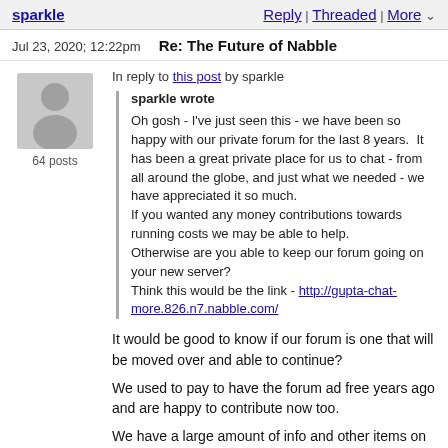sparkle
Reply | Threaded | More
Jul 23, 2020; 12:22pm   Re: The Future of Nabble
[Figure (illustration): Generic user avatar silhouette in gray]
64 posts
In reply to this post by sparkle
sparkle wrote

Oh gosh - I've just seen this - we have been so happy with our private forum for the last 8 years.  It has been a great private place for us to chat - from all around the globe, and just what we needed - we have appreciated it so much.
If you wanted any money contributions towards running costs we may be able to help.
Otherwise are you able to keep our forum going on your new server?
Think this would be the link - http://gupta-chat-more.826.n7.nabble.com/
It would be good to know if our forum is one that will be moved over and able to continue?
We used to pay to have the forum ad free years ago and are happy to contribute now too.
We have a large amount of info and other items on our medical support forum and would hate to lose it all.